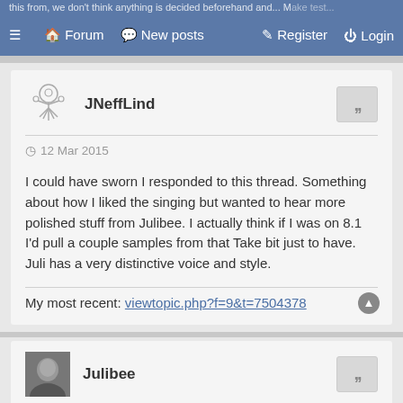this from, we don't think anything is decided beforehand and... Make test...
≡ 🏠 Forum 💬 New posts ✎ Register ⏻ Login
[Figure (illustration): Small robot/octopus avatar icon for user JNeffLind]
JNeffLind
12 Mar 2015
I could have sworn I responded to this thread. Something about how I liked the singing but wanted to hear more polished stuff from Julibee. I actually think if I was on 8.1 I'd pull a couple samples from that Take bit just to have. Juli has a very distinctive voice and style.
My most recent: viewtopic.php?f=9&t=7504378
[Figure (photo): Small portrait photo of Julibee]
Julibee